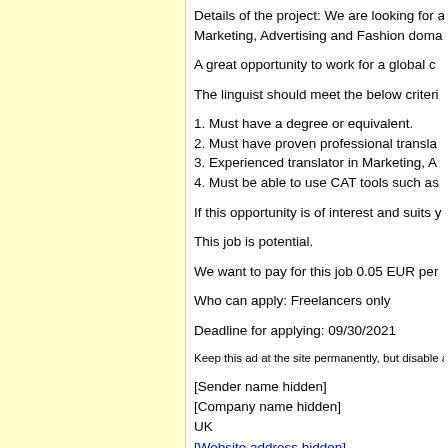Details of the project: We are looking for a... Marketing, Advertising and Fashion doma...
A great opportunity to work for a global c...
The linguist should meet the below criteri...
1. Must have a degree or equivalent.
2. Must have proven professional transla...
3. Experienced translator in Marketing, A...
4. Must be able to use CAT tools such as...
If this opportunity is of interest and suits y...
This job is potential.
We want to pay for this job 0.05 EUR per...
Who can apply: Freelancers only
Deadline for applying: 09/30/2021
Keep this ad at the site permanently, but disable appl...
[Sender name hidden]
[Company name hidden]
UK
[Website address hidden]
IP: 152.57.195.250 (Durham, United Sta...